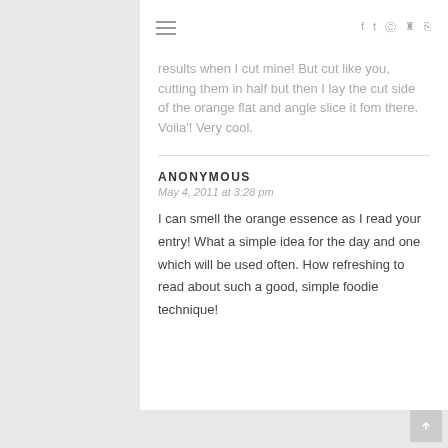≡  f  t  ◎  ℗  ⊃
results when I cut mine! But cut like you, cutting them in half but then I lay the cut side of the orange flat and angle slice it fom there. Voila'! Very cool.
ANONYMOUS
May 4, 2011 at 3:28 pm
I can smell the orange essence as I read your entry! What a simple idea for the day and one which will be used often. How refreshing to read about such a good, simple foodie technique!